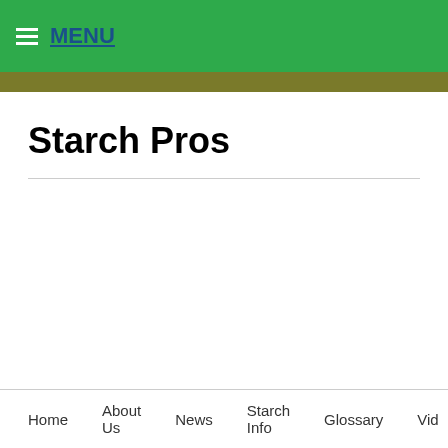MENU
Starch Pros
Home   About Us   News   Starch Info   Glossary   Vid
Maandelijks archief: juni 2017